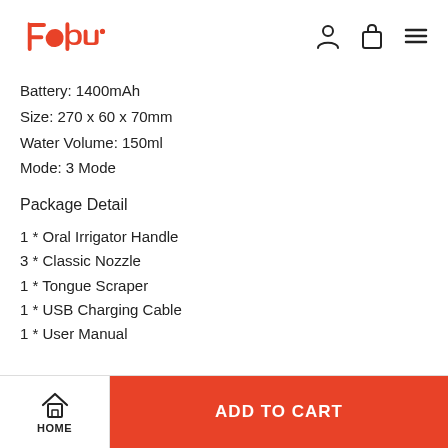Febu [logo]
Battery: 1400mAh
Size: 270 x 60 x 70mm
Water Volume: 150ml
Mode: 3 Mode
Package Detail
1 * Oral Irrigator Handle
3 * Classic Nozzle
1 * Tongue Scraper
1 * USB Charging Cable
1 * User Manual